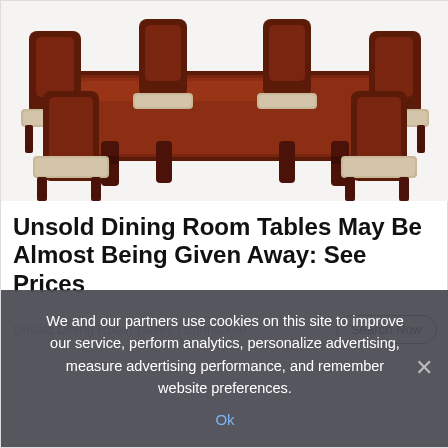[Figure (photo): A dark mahogany wood dining room set with ornate carved chairs featuring upholstered seats and a large rectangular dining table, photographed on white background]
Unsold Dining Room Tables May Be Almost Being Given Away: See Prices
Unsold Dining Room Tables | Sponsored
We and our partners use cookies on this site to improve our service, perform analytics, personalize advertising, measure advertising performance, and remember website preferences.
Ok